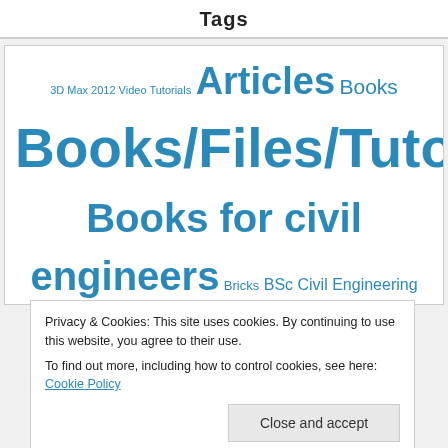Tags
[Figure (other): Tag cloud for a civil engineering website featuring tags of varying sizes in blue text, including: 3D Max 2012 Video Tutorials, Articles, Books, Books/Files/Tutorials, Books for civil engineers, Bricks, BSc Civil Engineering, civil engineering, Civil engineering Articles, Civil Engineering Books, civil engineering jobs, civil engineering videos, CODES, Concrete, Construction Machinery, Construction Materials, Environment, Environmental Engineering, environmental engineers, Excel Sheets, foundation design and construction, foundations, GAT, Geotechnical engineering, GRE, House Plans, Hydraulics, Interview Questions, jobs, jobs for civil engineers]
Privacy & Cookies: This site uses cookies. By continuing to use this website, you agree to their use.
To find out more, including how to control cookies, see here: Cookie Policy
Close and accept